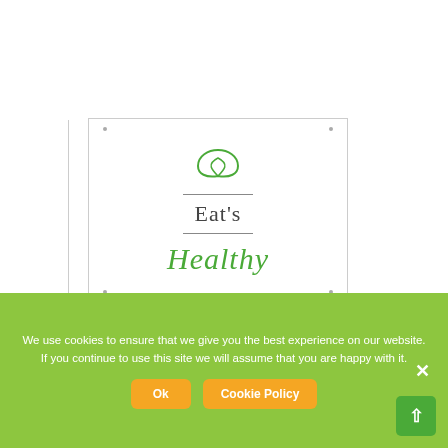[Figure (logo): Eat's Healthy logo: a green leaf/lips icon above a horizontal line, the word "Eat's" in light serif, another line, and "Healthy" in green cursive script. The logo is inside a bordered square card with corner dots.]
We use cookies to ensure that we give you the best experience on our website. If you continue to use this site we will assume that you are happy with it.